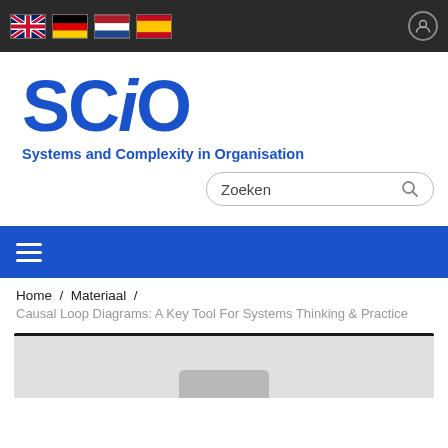[Figure (screenshot): Top navigation bar with country flags (UK, Germany, Netherlands, Spain) and user icon]
SCiO
Systems and Complexity in Organisation
[Figure (screenshot): Search box with placeholder text 'Zoeken' and magnifier icon]
[Figure (screenshot): Blue navigation bar with hamburger menu icon]
Home / Materiaal /
Causal Loop Diagrams: A Key Tool For Systems Thinking & Practice
[Figure (screenshot): Partial image strip at bottom of page, dark top border, gray background with lighter gray shape visible at bottom center]